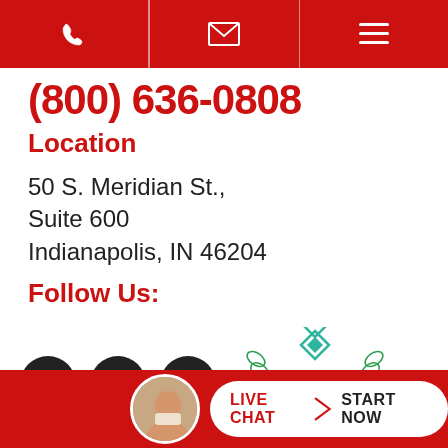navigation bar with phone, email, and menu icons
(800) 636-0808
Location
50 S. Meridian St.,
Suite 600
Indianapolis, IN 46204
Follow Us:
[Figure (logo): Facebook, Twitter, YouTube social media icons and Expertise.com Best Truck Accident Lawyers in Indianapolis badge]
[Figure (other): Live Chat - Start Now button with avatar photo]